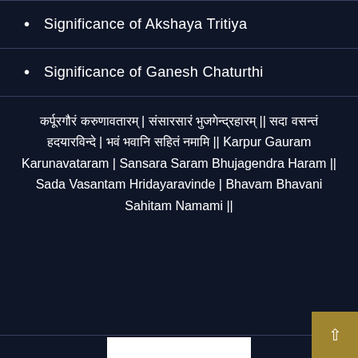Significance of Akshaya Tritiya
Significance of Ganesh Chaturthi
कर्पूरगौरं करुणावतारम् | संसारसारं भुजगेन्द्रहारम् || सदा वसन्तं हदयारविन्दे | भवं भवानि सहितं नमामि || Karpur Gauram Karunavataram | Sansara Saram Bhujagendra Haram || Sada Vasantam Hridayaravinde | Bhavam Bhavani Sahitam Namami ||